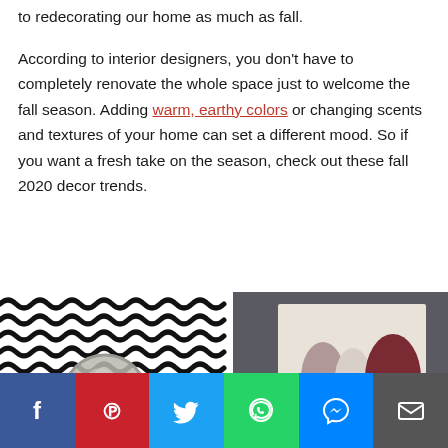to redecorating our home as much as fall.
According to interior designers, you don't have to completely renovate the whole space just to welcome the fall season. Adding warm, earthy colors or changing scents and textures of your home can set a different mood. So if you want a fresh take on the season, check out these fall 2020 decor trends.
[Figure (photo): Split image showing a black and white squiggle-patterned wall with a round mirror on the left, and a framed art print with oval shapes in mauve, beige, and dark maroon on a dark gray background on the right.]
[Figure (infographic): Social sharing bar with buttons for Facebook (blue), Pinterest (red), Twitter (light blue), WhatsApp (green), Messenger (blue), and Email (dark gray).]